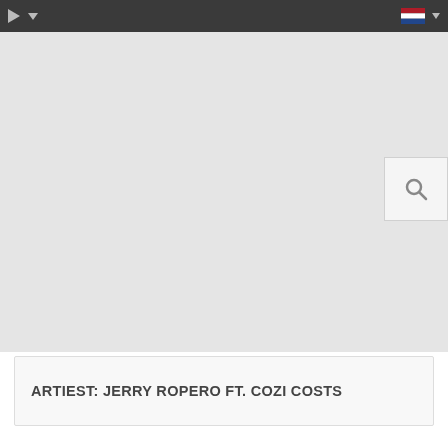Navigation bar with play button, dropdown arrow, Dutch flag and dropdown
[Figure (screenshot): Light gray main content area with a search magnifying glass icon box at the right side]
ARTIEST: JERRY ROPERO FT. COZI COSTS